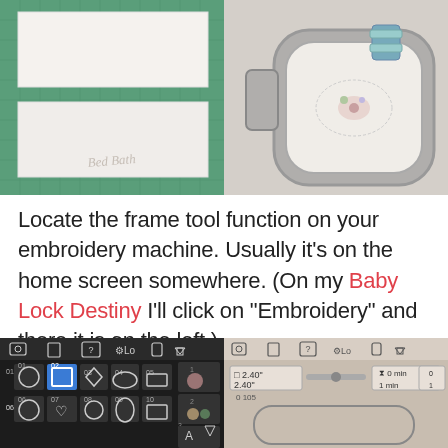[Figure (photo): Left photo: White fabric/stabilizer pieces on a green cutting mat with a watermark signature]
[Figure (photo): Right photo: Embroidery hoop with floral embroidery design and thread spool on white fabric]
Locate the frame tool function on your embroidery machine. Usually it’s on the home screen somewhere. (On my Baby Lock Destiny I’ll click on “Embroidery” and there it is on the left.)
[Figure (screenshot): Left screenshot: Embroidery machine screen showing shape/frame selection menu with various shapes including the selected frame shape (highlighted in blue), icons at top for camera, document, help, settings, lock, home]
[Figure (screenshot): Right screenshot: Embroidery machine screen showing 2.40" x 2.40" hoop size selected, time display showing 0 min / 1 min, and hoop outline preview]